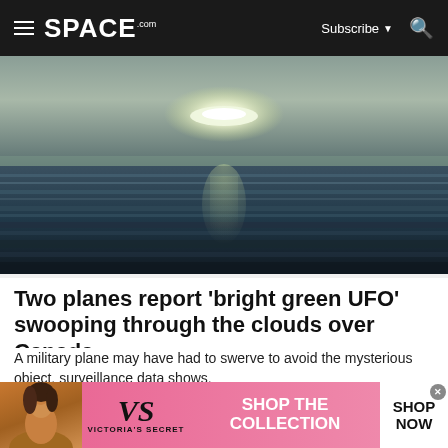SPACE.com — Subscribe — Search
[Figure (photo): A blurry, moody photo of a calm ocean at dusk or dawn. A glowing elliptical light object hovers above the water, resembling a UFO or sun reflection. The ocean surface shows horizontal motion-blur streaks. The sky is hazy and pale greenish-grey.]
Two planes report 'bright green UFO' swooping through the clouds over Canada
A military plane may have had to swerve to avoid the mysterious object, surveillance data shows.
[Figure (photo): Victoria's Secret advertisement banner. Pink background. A woman model on the left. Victoria's Secret script logo in the center. Text reads: SHOP THE COLLECTION. White button on the right reads: SHOP NOW.]